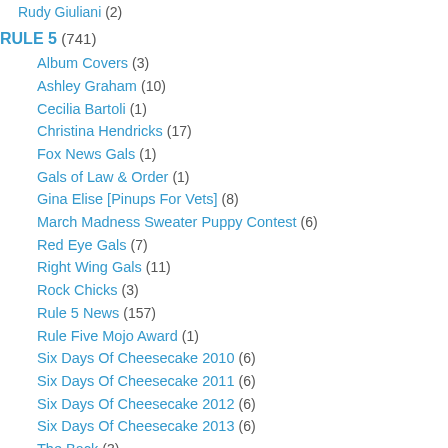Rudy Giuliani (2)
RULE 5 (741)
Album Covers (3)
Ashley Graham (10)
Cecilia Bartoli (1)
Christina Hendricks (17)
Fox News Gals (1)
Gals of Law & Order (1)
Gina Elise [Pinups For Vets] (8)
March Madness Sweater Puppy Contest (6)
Red Eye Gals (7)
Right Wing Gals (11)
Rock Chicks (3)
Rule 5 News (157)
Rule Five Mojo Award (1)
Six Days Of Cheesecake 2010 (6)
Six Days Of Cheesecake 2011 (6)
Six Days Of Cheesecake 2012 (6)
Six Days Of Cheesecake 2013 (6)
The Back (3)
The Cheesecake Menu (1)